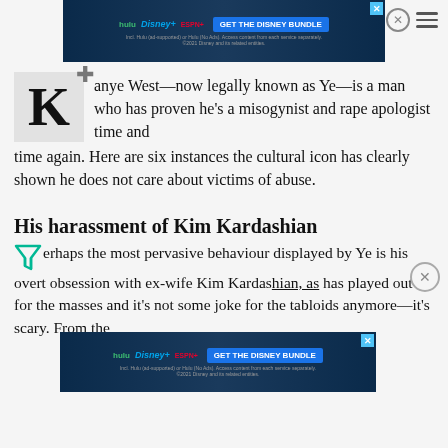[Figure (advertisement): Disney Bundle advertisement banner with Hulu, Disney+, ESPN+ logos and 'GET THE DISNEY BUNDLE' button at top of page]
anye West—now legally known as Ye—is a man who has proven he's a misogynist and rape apologist time and time again. Here are six instances the cultural icon has clearly shown he does not care about victims of abuse.
His harassment of Kim Kardashian
Perhaps the most pervasive behaviour displayed by Ye is his overt obsession with ex-wife Kim Kardashian, as has played out for the masses and it's not some joke for the tabloids anymore—it's scary. From the
[Figure (advertisement): Disney Bundle advertisement banner with Hulu, Disney+, ESPN+ logos and 'GET THE DISNEY BUNDLE' button at bottom of page]